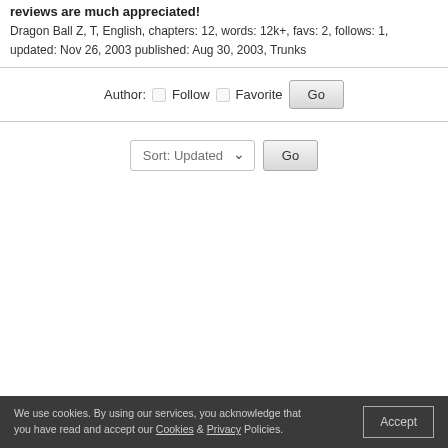reviews are much appreciated!
Dragon Ball Z, T, English, chapters: 12, words: 12k+, favs: 2, follows: 1, updated: Nov 26, 2003 published: Aug 30, 2003, Trunks
Author: Follow Favorite Go
Sort: Updated Go
We use cookies. By using our services, you acknowledge that you have read and accept our Cookies & Privacy Policies. Accept